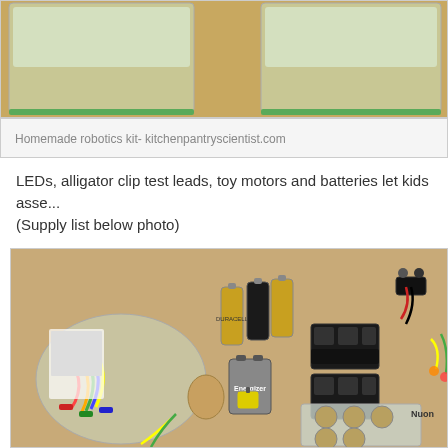[Figure (photo): Homemade robotics kit components in clear plastic storage containers on a wooden surface, partially cropped at top of page]
Homemade robotics kit- kitchenpantryscientist.com
LEDs, alligator clip test leads, toy motors and batteries let kids asse... (Supply list below photo)
[Figure (photo): Electronics components laid out on a wooden surface including alligator clip test leads in a bag, batteries (AA, 9V, coin cell), battery holders, small toy motors, and colorful wired LEDs]